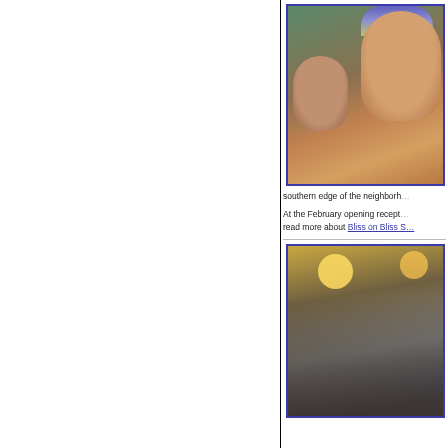[Figure (photo): Photo of two women smiling, one wearing a colorful knitted hat, with a green top visible; appears to be at an indoor event or gallery.]
southern edge of the neighborhood
At the February opening reception, read more about Bliss on Bliss S[treet]
[Figure (photo): Photo of a group of people gathered indoors at what appears to be an opening reception, warm lighting visible in background.]